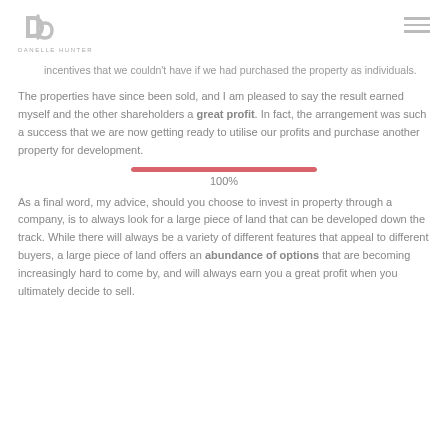DANELLE HUNTER
incentives that we couldn't have if we had purchased the property as individuals.
The properties have since been sold, and I am pleased to say the result earned myself and the other shareholders a great profit. In fact, the arrangement was such a success that we are now getting ready to utilise our profits and purchase another property for development.
[Figure (other): A horizontal progress bar filled to 100% in red/pink color, with a label '100%' below it.]
As a final word, my advice, should you choose to invest in property through a company, is to always look for a large piece of land that can be developed down the track. While there will always be a variety of different features that appeal to different buyers, a large piece of land offers an abundance of options that are becoming increasingly hard to come by, and will always earn you a great profit when you ultimately decide to sell.